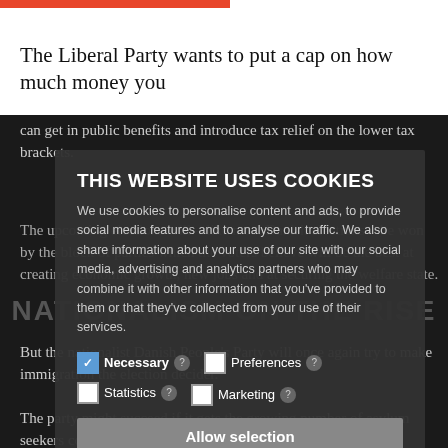The Liberal Party wants to put a cap on how much money you can get in public benefits and introduce tax relief on the lower tax brackets.
can get in public benefits and introduce tax relief on the lower tax brackets.
NATIONALISM ON THE RISE
The upcoming elections will – like most Danish elections – be won by the block of parties which the voters believe will be the best at creating economic growth, new jobs and at securing the welfare state.
THIS WEBSITE USES COOKIES
We use cookies to personalise content and ads, to provide social media features and to analyse our traffic. We also share information about your use of our site with our social media, advertising and analytics partners who may combine it with other information that you've provided to them or that they've collected from your use of their services.
Necessary
Preferences
Statistics
Marketing
Allow selection
Allow all cookies
But the nationalist Danish People's Party will once again try to make immigration the election decider.
The party might succeed if it gets the growing number of asylum seekers coming from Syria and the increasing number of